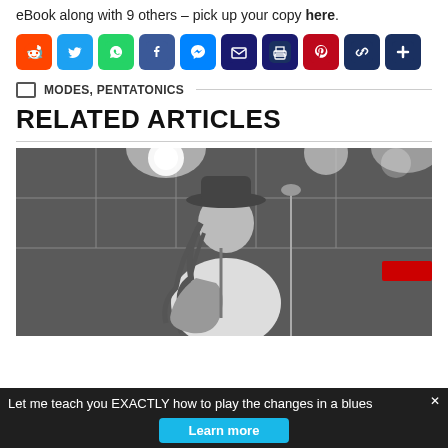eBook along with 9 others – pick up your copy here.
[Figure (infographic): Social sharing buttons row: Reddit (orange), Twitter (blue), WhatsApp (green), Facebook (dark blue), Messenger (blue), Email (dark blue), Print (dark blue), Pinterest (dark red), Copy link (dark blue), More/plus (dark blue)]
MODES, PENTATONICS
RELATED ARTICLES
[Figure (photo): Black and white photo of a male guitarist with dreadlocks and a wide-brim hat, wearing a white t-shirt, playing electric guitar on stage with bright stage lights and microphone stand in background.]
Let me teach you EXACTLY how to play the changes in a blues
Learn more